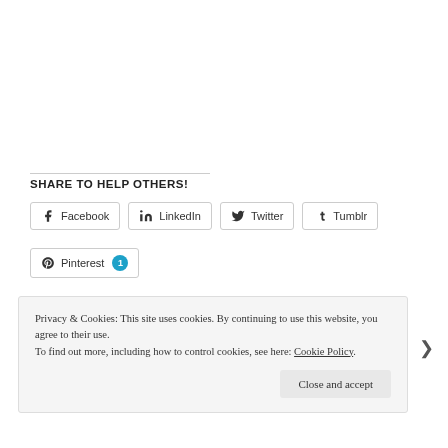SHARE TO HELP OTHERS!
Facebook | LinkedIn | Twitter | Tumblr | Pinterest 1
Privacy & Cookies: This site uses cookies. By continuing to use this website, you agree to their use. To find out more, including how to control cookies, see here: Cookie Policy
Close and accept